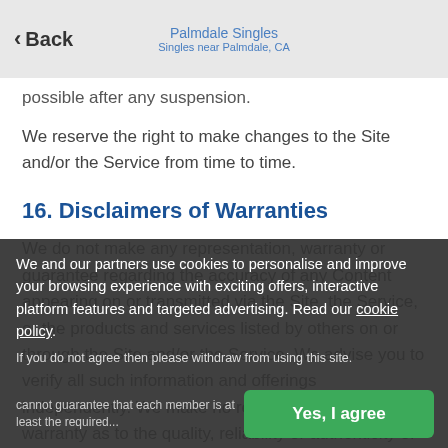Back | Palmdale Singles | Singles near Palmdale, CA
possible after any suspension.
We reserve the right to make changes to the Site and/or the Service from time to time.
16. Disclaimers of Warranties
We do not make any representation, warranty or guarantee regarding the accuracy of any Content appearing on or transmitted via the Site, the Service, or the products and services listed by others on or through the Site and/or the Service. We advise you to verify all such information and offerings independently. We make no representation or warranty as to the quality, reliability or authenticity of any service provider or any third party appearing on or through
We and our partners use cookies to personalise and improve your browsing experience with exciting offers, interactive platform features and targeted advertising. Read our cookie policy.
If you do not agree then please withdraw from using this site.
cannot guarantee that each member is at least the required...